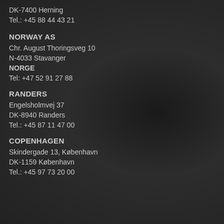DK-7400 Herning
Tel.: +45 88 44 43 21
NORWAY AS
Chr. August Thoringsveg 10
N-4033 Stavanger
NORGE
Tel: +47 52 91 27 88
RANDERS
Engelsholmvej 37
DK-8940 Randers
Tel.: +45 87 11 47 00
COPENHAGEN
Skindergade 13, København
DK-1159 København
Tel.: +45 97 73 20 00